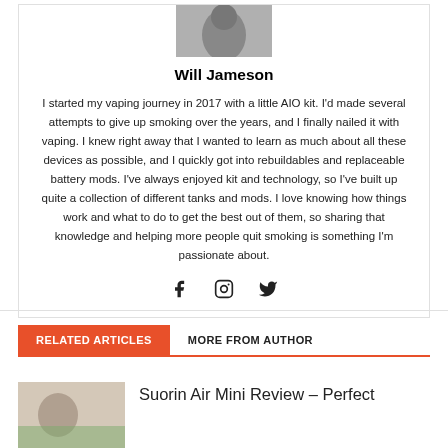[Figure (photo): Black and white portrait photo of Will Jameson, partial view cropped at top]
Will Jameson
I started my vaping journey in 2017 with a little AIO kit. I'd made several attempts to give up smoking over the years, and I finally nailed it with vaping. I knew right away that I wanted to learn as much about all these devices as possible, and I quickly got into rebuildables and replaceable battery mods. I've always enjoyed kit and technology, so I've built up quite a collection of different tanks and mods. I love knowing how things work and what to do to get the best out of them, so sharing that knowledge and helping more people quit smoking is something I'm passionate about.
[Figure (illustration): Social media icons: Facebook, Instagram, Twitter]
RELATED ARTICLES   MORE FROM AUTHOR
[Figure (photo): Thumbnail image for Suorin Air Mini Review article]
Suorin Air Mini Review – Perfect